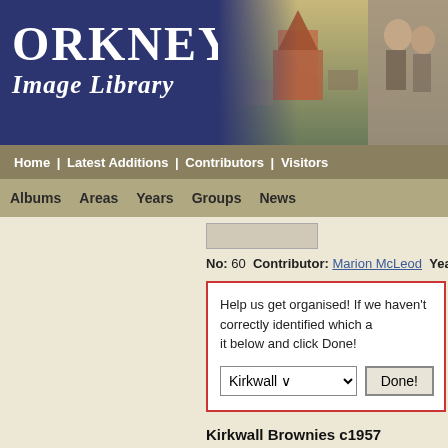ORKNEY IMAGE LIBRARY
Home | Latest Additions | Contributors | Visitors
Albums  Areas  Years  Groups  News
No: 60  Contributor: Marion McLeod  Year: 1957  Area: Kirk
Help us get organised! If we haven't correctly identified which a... it below and click Done!
Kirkwall  [dropdown]  Done!
Kirkwall Brownies c1957
Picture added on 08 December 2003
Related Sites: Kirkwall East Church